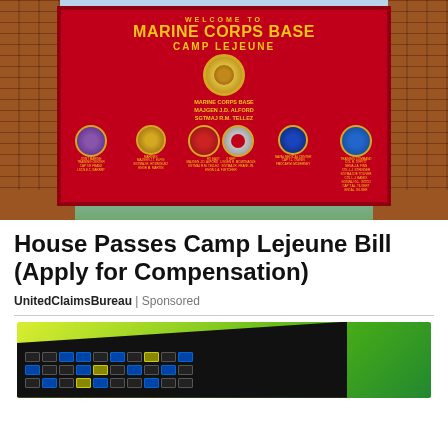[Figure (photo): Photograph of the Welcome to Marine Corps Base Camp Lejeune entrance sign — a large red sign with gold text and multiple military unit emblems/insignia, flanked by brick pillars with trees and sky in the background.]
House Passes Camp Lejeune Bill (Apply for Compensation)
UnitedClaimsBureau | Sponsored
[Figure (photo): Partial photo of a gaming keyboard with RGB lighting against a green/yellow gradient background.]